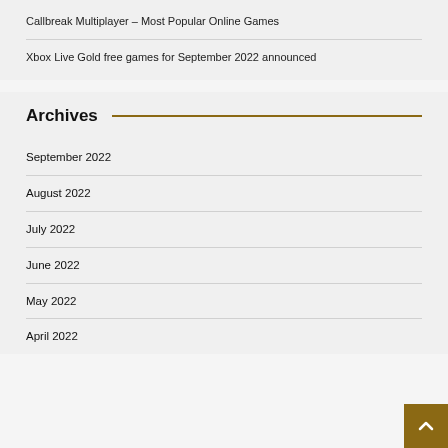Callbreak Multiplayer – Most Popular Online Games
Xbox Live Gold free games for September 2022 announced
Archives
September 2022
August 2022
July 2022
June 2022
May 2022
April 2022